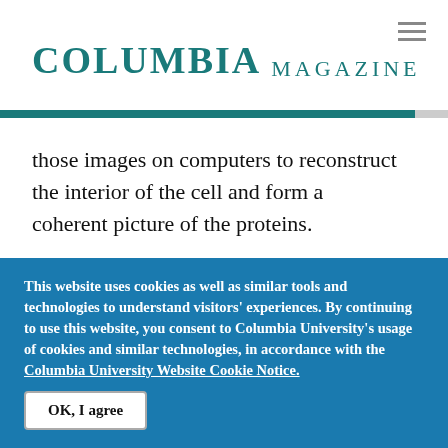COLUMBIA MAGAZINE
those images on computers to reconstruct the interior of the cell and form a coherent picture of the proteins.
With the Aquilos now firmly ensconced in its specially constructed chamber and ready for action, Fitzpatrick has a dream setup that will
This website uses cookies as well as similar tools and technologies to understand visitors' experiences. By continuing to use this website, you consent to Columbia University's usage of cookies and similar technologies, in accordance with the Columbia University Website Cookie Notice.
OK, I agree